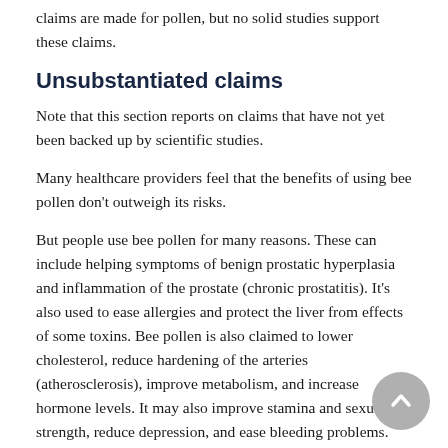claims are made for pollen, but no solid studies support these claims.
Unsubstantiated claims
Note that this section reports on claims that have not yet been backed up by scientific studies.
Many healthcare providers feel that the benefits of using bee pollen don’t outweigh its risks.
But people use bee pollen for many reasons. These can include helping symptoms of benign prostatic hyperplasia and inflammation of the prostate (chronic prostatitis). It’s also used to ease allergies and protect the liver from effects of some toxins. Bee pollen is also claimed to lower cholesterol, reduce hardening of the arteries (atherosclerosis), improve metabolism, and increase hormone levels. It may also improve stamina and sexual strength, reduce depression, and ease bleeding problems.
Dosing format
There is no best dosage for bee pollen. It’s best to take a lower dose to start first. This can prevent inhibiting…